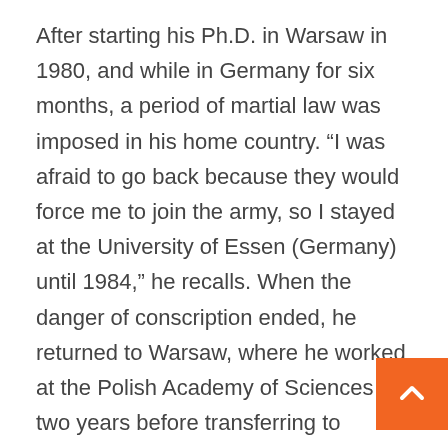After starting his Ph.D. in Warsaw in 1980, and while in Germany for six months, a period of martial law was imposed in his home country. “I was afraid to go back because they would force me to join the army, so I stayed at the University of Essen (Germany) until 1984,” he recalls. When the danger of conscription ended, he returned to Warsaw, where he worked at the Polish Academy of Sciences for two years before transferring to Harvard University along with Nobel laureate in physics Roy J. Glauber. From there he jumped to the Commissariat for Atomic Energy in France, and then to the University of Boulder, Colorado (USA). This was not his last destination: from Tex went to Hanover, to the Institute of Theoretical Ph And it was there, at a meeting with his friend and